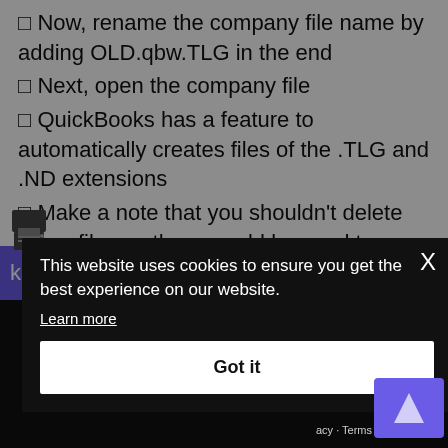Now, rename the company file name by adding OLD.qbw.TLG in the end
Next, open the company file
QuickBooks has a feature to automatically creates files of the .TLG and .ND extensions
Make a note that you shouldn't delete these files as these could be used to recover the lost
[Figure (screenshot): Cookie consent popup with black background. Text: 'This website uses cookies to ensure you get the best experience on our website.' with a 'Learn more' link and a 'Got it' button. An X close button in top right corner.]